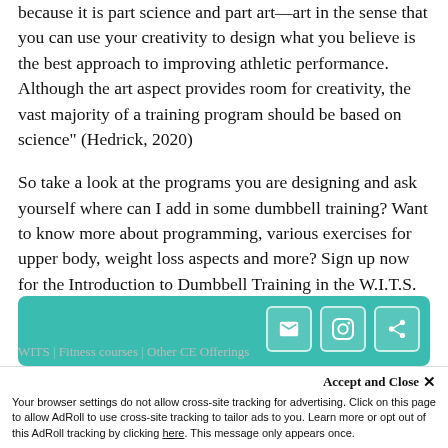because it is part science and part art—art in the sense that you can use your creativity to design what you believe is the best approach to improving athletic performance. Although the art aspect provides room for creativity, the vast majority of a training program should be based on science" (Hedrick, 2020)
So take a look at the programs you are designing and ask yourself where can I add in some dumbbell training? Want to know more about programming, various exercises for upper body, weight loss aspects and more? Sign up now for the Introduction to Dumbbell Training in the W.I.T.S. Store
Check out this great Infographic about guidelines of
[Figure (screenshot): Teal/green banner image with social sharing icons (email, instagram, share) on the right side]
Accept and Close ×
Your browser settings do not allow cross-site tracking for advertising. Click on this page to allow AdRoll to use cross-site tracking to tailor ads to you. Learn more or opt out of this AdRoll tracking by clicking here. This message only appears once.